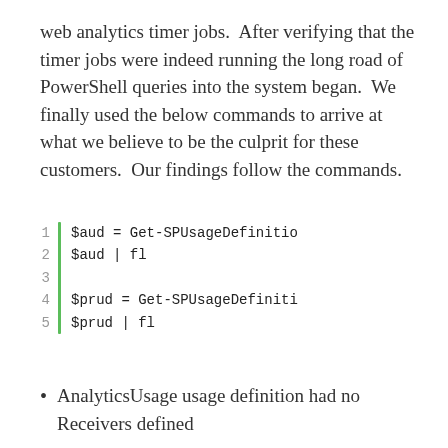web analytics timer jobs.  After verifying that the timer jobs were indeed running the long road of PowerShell queries into the system began.  We finally used the below commands to arrive at what we believe to be the culprit for these customers.  Our findings follow the commands.
[Figure (screenshot): Code block with line numbers 1-5 and a green vertical bar. Lines: 1: $aud = Get-SPUsageDefinitio, 2: $aud | fl, 3: (blank), 4: $prud = Get-SPUsageDefiniti, 5: $prud | fl]
AnalyticsUsage usage definition had no Receivers defined